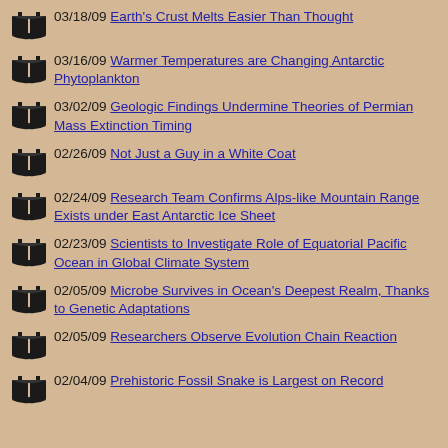03/18/09 Earth's Crust Melts Easier Than Thought
03/16/09 Warmer Temperatures are Changing Antarctic Phytoplankton
03/02/09 Geologic Findings Undermine Theories of Permian Mass Extinction Timing
02/26/09 Not Just a Guy in a White Coat
02/24/09 Research Team Confirms Alps-like Mountain Range Exists under East Antarctic Ice Sheet
02/23/09 Scientists to Investigate Role of Equatorial Pacific Ocean in Global Climate System
02/05/09 Microbe Survives in Ocean's Deepest Realm, Thanks to Genetic Adaptations
02/05/09 Researchers Observe Evolution Chain Reaction
02/04/09 Prehistoric Fossil Snake is Largest on Record